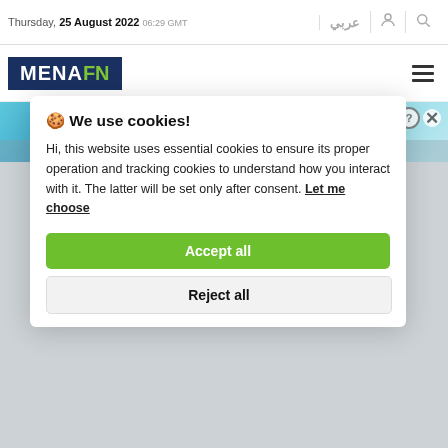Thursday, 25 August 2022 06:29 GMT
[Figure (logo): MENAFN logo — white text MENA and green text FN on dark navy background]
🍪 We use cookies!
Hi, this website uses essential cookies to ensure its proper operation and tracking cookies to understand how you interact with it. The latter will be set only after consent. Let me choose
Accept all
Reject all